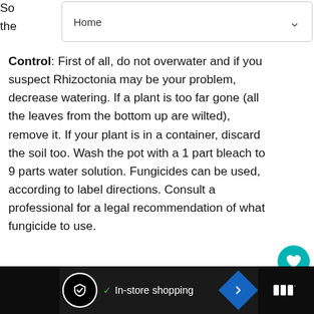Home
Control: First of all, do not overwater and if you suspect Rhizoctonia may be your problem, decrease watering. If a plant is too far gone (all the leaves from the bottom up are wilted), remove it. If your plant is in a container, discard the soil too. Wash the pot with a 1 part bleach to 9 parts water solution. Fungicides can be used, according to label directions. Consult a professional for a legal recommendation of what fungicide to use.
Pest : Thrips
[Figure (screenshot): Advertisement bar with circular logo, In-store shopping text with checkmark, and navigation arrow diamond icon]